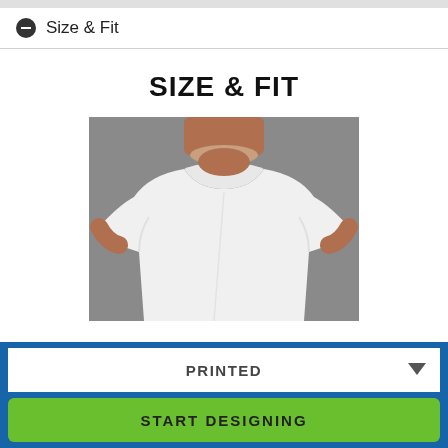Size & Fit
SIZE & FIT
[Figure (photo): Man wearing a white crew-neck t-shirt against a gray background, shown from shoulders to waist]
PRINTED
START DESIGNING